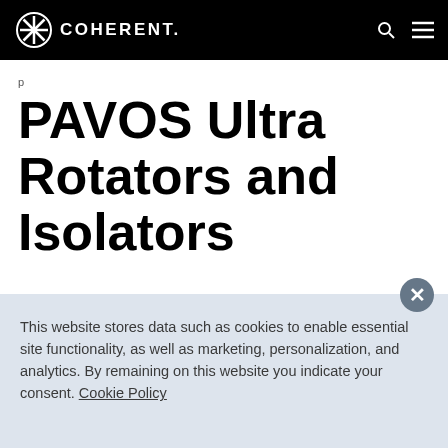COHERENT
PAVOS Ultra Rotators and Isolators
[Figure (photo): Partial view of PAVOS Ultra optical isolator/rotator products, red cylindrical components visible in corner]
This website stores data such as cookies to enable essential site functionality, as well as marketing, personalization, and analytics. By remaining on this website you indicate your consent. Cookie Policy